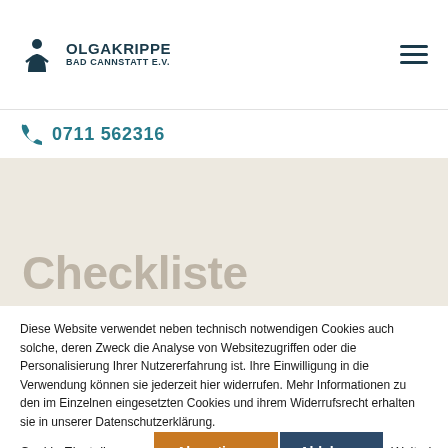OLGAKRIPPE BAD CANNSTATT E.V.
0711 562316
Checkliste
Diese Website verwendet neben technisch notwendigen Cookies auch solche, deren Zweck die Analyse von Websitezugriffen oder die Personalisierung Ihrer Nutzererfahrung ist. Ihre Einwilligung in die Verwendung können sie jederzeit hier widerrufen. Mehr Informationen zu den im Einzelnen eingesetzten Cookies und ihrem Widerrufsrecht erhalten sie in unserer Datenschutzerklärung.
Cookie Einstellungen | Akzeptieren | Ablehnen | Weiterlesen